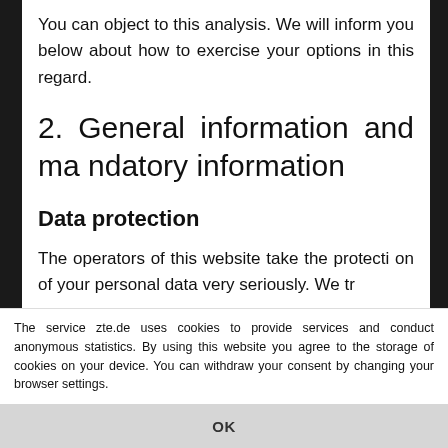You can object to this analysis. We will inform you below about how to exercise your options in this regard.
2. General information and mandatory information
Data protection
The operators of this website take the protection of your personal data very seriously. We tr
The service zte.de uses cookies to provide services and conduct anonymous statistics. By using this website you agree to the storage of cookies on your device. You can withdraw your consent by changing your browser settings.
OK